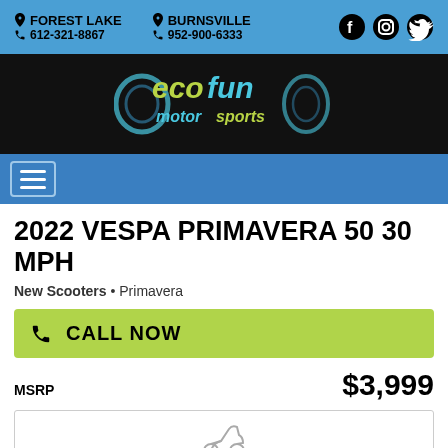FOREST LAKE • 612-321-8867 | BURNSVILLE • 952-900-6333
[Figure (logo): Ecofun Motorsports logo with stylized colorful text on black background]
[Figure (other): Navigation hamburger menu button]
2022 VESPA PRIMAVERA 50 30 MPH
New Scooters • Primavera
CALL NOW
MSRP $3,999
[Figure (photo): Partial product photo of Vespa Primavera 50 scooter]